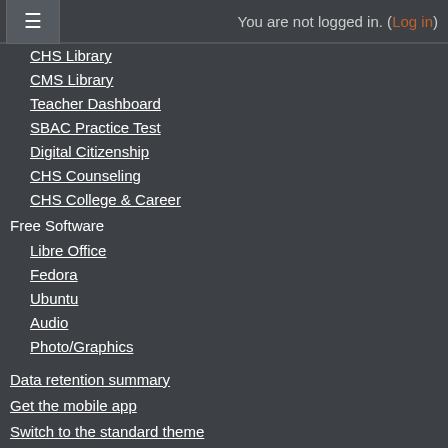You are not logged in. (Log in)
CHS Library
CMS Library
Teacher Dashboard
SBAC Practice Test
Digital Citizenship
CHS Counseling
CHS College & Career
Free Software
Libre Office
Fedora
Ubuntu
Audio
Photo/Graphics
Data retention summary
Get the mobile app
Switch to the standard theme